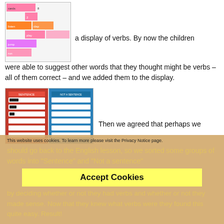[Figure (photo): A display of colorful verb cards arranged in rows on pink, orange, purple and white cards]
a display of verbs. By now the children were able to suggest other words that they thought might be verbs – all of them correct – and we added them to the display.
[Figure (photo): Two folders/books open showing sentence sorting activity with red and blue pages containing white label strips]
Then we agreed that perhaps we should go back to the English lesson, so we sorted some groups of words into "Sentence" and "Not a sentence" by deciding whether or not they had verbs and whether or not they made sense. Now that they knew what verbs were they found this quite easy. Result!
This website uses cookies. To learn more please visit the Privacy Notice page.
Accept Cookies